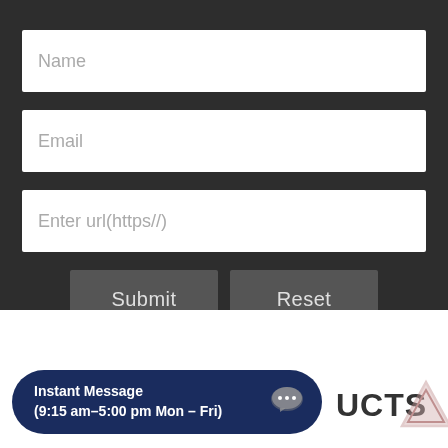[Figure (screenshot): Web form with dark background containing three input fields (Name, Email, Enter url(https//)) and two buttons (Submit, Reset)]
[Figure (infographic): Instant Message chat button with text 'Instant Message (9:15 am–5:00 pm Mon – Fri)' on dark navy rounded pill, with chat bubble icon]
UCTS
[Figure (logo): Triangle/warning logo outline in muted pink/mauve color]